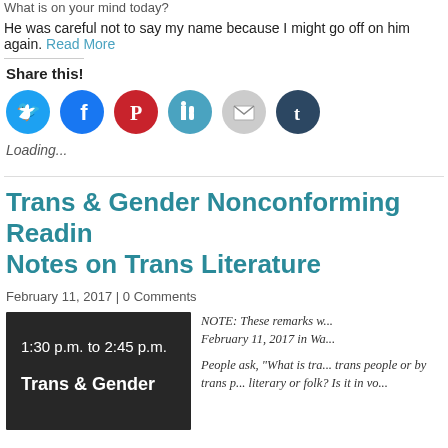What is on your mind today?
He was careful not to say my name because I might go off on him again. Read More
Share this!
[Figure (infographic): Social media share buttons: Twitter (cyan circle), Facebook (blue circle), Pinterest (red circle), LinkedIn (light blue circle), Email (gray circle), Tumblr (dark navy circle)]
Loading...
Trans & Gender Nonconforming Reading Notes on Trans Literature
February 11, 2017 | 0 Comments
[Figure (photo): Dark photo showing text: 1:30 p.m. to 2:45 p.m. Trans & Gender]
NOTE: These remarks w... February 11, 2017 in Wa...

People ask, "What is tra... trans people or by trans p... literary or folk? Is it in vo...